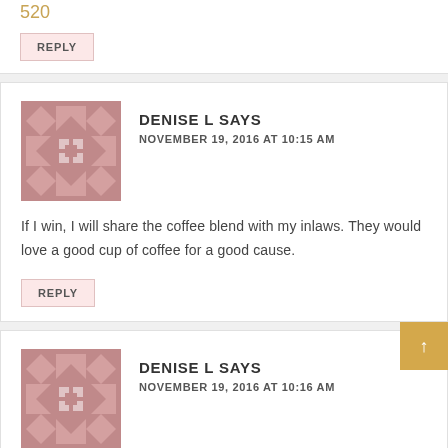520
REPLY
DENISE L SAYS
NOVEMBER 19, 2016 AT 10:15 AM
If I win, I will share the coffee blend with my inlaws. They would love a good cup of coffee for a good cause.
REPLY
DENISE L SAYS
NOVEMBER 19, 2016 AT 10:16 AM
tweeted –
https://twitter.com/...